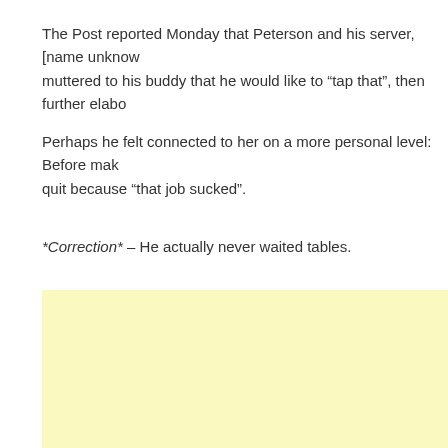The Post reported Monday that Peterson and his server, [name unknown], muttered to his buddy that he would like to "tap that", then further elaborated...
Perhaps he felt connected to her on a more personal level: Before making... quit because "that job sucked".
*Correction* – He actually never waited tables.
[Figure (other): Light yellow advertisement block placeholder]